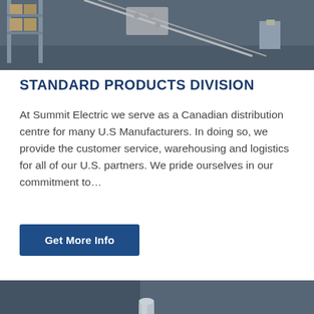[Figure (photo): Warehouse/factory interior with metal shelving, boxes, and industrial equipment visible on a loading dock or storage area.]
STANDARD PRODUCTS DIVISION
At Summit Electric we serve as a Canadian distribution centre for many U.S Manufacturers. In doing so, we provide the customer service, warehousing and logistics for all of our U.S. partners. We pride ourselves in our commitment to…
Get More Info
[Figure (photo): Close-up photograph of metal industrial components including cylindrical shafts and machined metal parts on a workbench with a wooden-handled tool.]